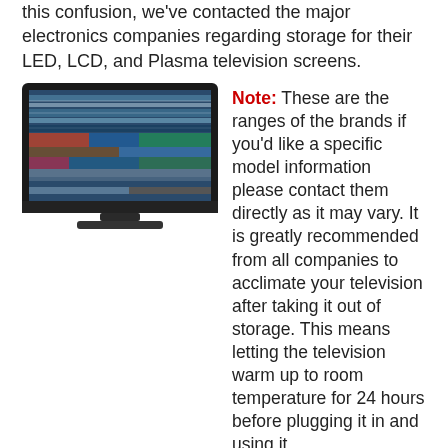this confusion, we've contacted the major electronics companies regarding storage for their LED, LCD, and Plasma television screens.
[Figure (photo): A flatscreen television displaying a colorful static/distorted image on screen, with a dark frame and stand.]
Note: These are the ranges of the brands if you'd like a specific model information please contact them directly as it may vary. It is greatly recommended from all companies to acclimate your television after taking it out of storage. This means letting the television warm up to room temperature for 24 hours before plugging it in and using it.
Samsung Canada: After speaking to a rep at Samsung he noted that their LED, LCD, Plasma and Smart TV screens should be stored between 10°C and 40°C.